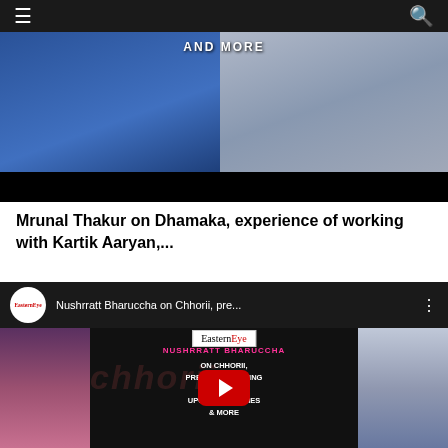≡  EasternEye  🔍
[Figure (screenshot): Video thumbnail showing two people seated in chairs having an interview, with text 'AND MORE' visible at the top. Black bar at bottom.]
Mrunal Thakur on Dhamaka, experience of working with Kartik Aaryan,...
[Figure (screenshot): YouTube video embed for 'Nushrratt Bharuccha on Chhorii, pre...' by EasternEye channel. Thumbnail shows Nushrratt Bharuccha on left and a man on right with text: EasternEye logo, NUSHRRATT BHARUCCHA, ON CHHORII, PRESSURE OF STARRING IN ROLE, UPCOMING MOVIES & MORE. Red YouTube play button in center.]